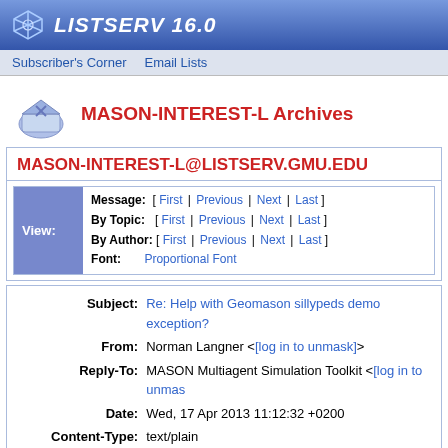LISTSERV 16.0
Subscriber's Corner  Email Lists
MASON-INTEREST-L Archives
MASON-INTEREST-L@LISTSERV.GMU.EDU
View: Message: [ First | Previous | Next | Last ] By Topic: [ First | Previous | Next | Last ] By Author: [ First | Previous | Next | Last ] Font: Proportional Font
| Subject | From | Reply-To | Date | Content-Type | Parts/Attachments |
| --- | --- | --- | --- | --- | --- |
| Re: Help with Geomason sillypeds demo exception? | Norman Langner <[log in to unmask]> | MASON Multiagent Simulation Toolkit <[log in to unmas...]> | Wed, 17 Apr 2013 11:12:32 +0200 | text/plain | text/plain (51 lines) |
Thank you for the fast help. Could someone provide me
first.txt.gz file? I downloaded the one from the goog...